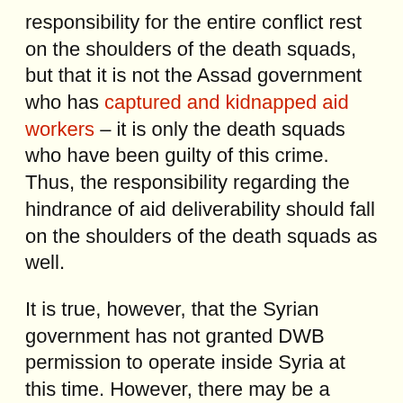responsibility for the entire conflict rest on the shoulders of the death squads, but that it is not the Assad government who has captured and kidnapped aid workers – it is only the death squads who have been guilty of this crime. Thus, the responsibility regarding the hindrance of aid deliverability should fall on the shoulders of the death squads as well.
It is true, however, that the Syrian government has not granted DWB permission to operate inside Syria at this time. However, there may be a more justifiable reason for Assad's refusal to allow the organization to set up camp in Syria than first meets the eye.
This is because Doctors Without Borders, along with several other internationally recognized and renowned human rights and medical charity organizations, have been clearly implicated in their cooperation with Anglo-American interests in the ginning up of a case for Western military action against Syria by misreporting